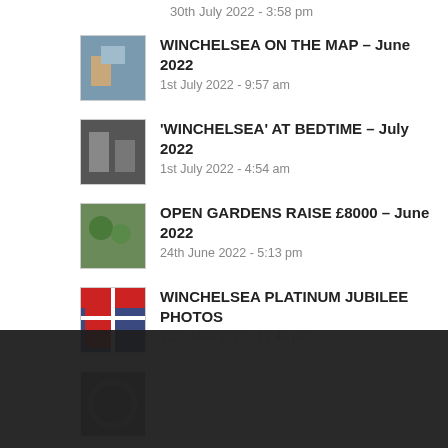30th July 2022 - 3:58 pm
WINCHELSEA ON THE MAP – June 2022
1st July 2022 - 9:57 am
'WINCHELSEA' AT BEDTIME – July 2022
1st July 2022 - 4:54 am
OPEN GARDENS RAISE £8000 – June 2022
24th June 2022 - 5:13 pm
WINCHELSEA PLATINUM JUBILEE PHOTOS
12th June 2022 - 12:40 pm
PUB QUIZ... – Sunday 22nd May
14th May...
WINCHELSEA MAYORING 2022
This site uses cookies. By continuing to browse the site, you are agreeing to our use of cookies.
OK
Learn more